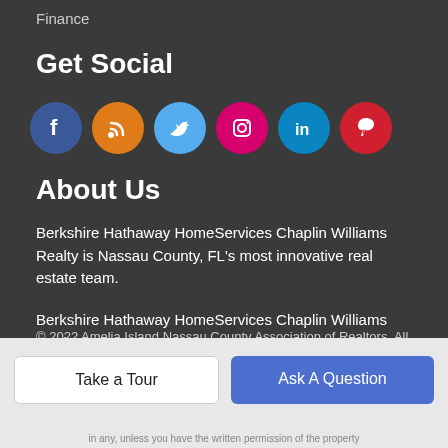Finance
Get Social
[Figure (infographic): Row of 6 social media icon circles: Facebook (blue), RSS (orange), Twitter (light blue), Instagram (pink/magenta), LinkedIn (teal), Pinterest (red)]
About Us
Berkshire Hathaway HomeServices Chaplin Williams Realty is Nassau County, FL's most innovative real estate team.
Berkshire Hathaway HomeServices Chaplin Williams Realty 5472 First Coast Hwy #1, Fernandina Beach, FL 32034
(904) 261-9311
© 2022 Amelia Island Nassau County Association of Realtors. All
Take a Tour
Ask A Question